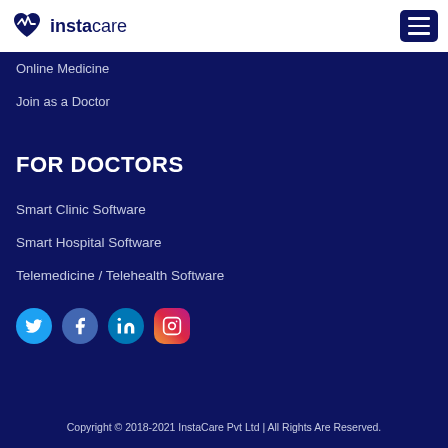[Figure (logo): InstaCare logo with heart/pulse icon and text 'instacare' in dark navy, plus hamburger menu button]
Online Medicine
Join as a Doctor
FOR DOCTORS
Smart Clinic Software
Smart Hospital Software
Telemedicine / Telehealth Software
[Figure (infographic): Social media icons: Twitter (blue bird), Facebook (blue f), LinkedIn (blue in), Instagram (gradient camera)]
Copyright © 2018-2021 InstaCare Pvt Ltd | All Rights Are Reserved.